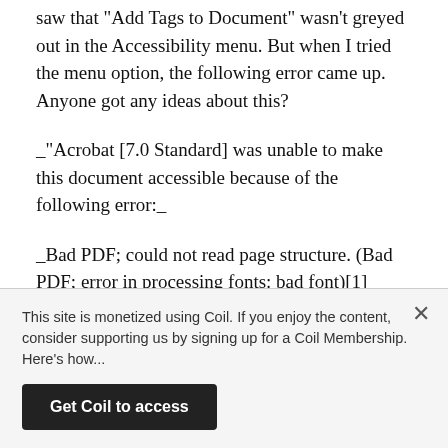saw that "Add Tags to Document" wasn't greyed out in the Accessibility menu. But when I tried the menu option, the following error came up. Anyone got any ideas about this?
_"Acrobat [7.0 Standard] was unable to make this document accessible because of the following error:_
_Bad PDF; could not read page structure. (Bad PDF; error in processing fonts: bad font)[1]_
_Please note that some pages of this document may have been changed. Because of this failure, you are advised to not save these changes."_
This site is monetized using Coil. If you enjoy the content, consider supporting us by signing up for a Coil Membership. Here's how...
Get Coil to access